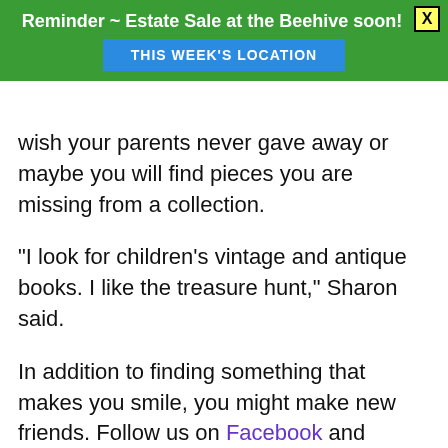Reminder ~ Estate Sale at the Beehive soon!
THIS WEEK'S LOCATION
wish your parents never gave away or maybe you will find pieces you are missing from a collection.
“I look for children’s vintage and antique books. I like the treasure hunt,” Sharon said.
In addition to finding something that makes you smile, you might make new friends. Follow us on Facebook and Instagram and check out our webpage for upcoming sale dates and locations.